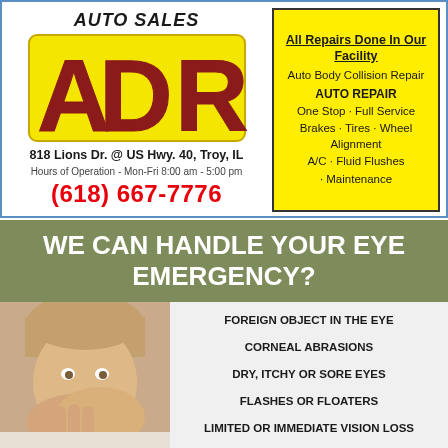[Figure (logo): ADR Auto Sales logo with large red bold letters ADR on yellow background with dark outline, 'AUTO SALES' text above in italic bold]
818 Lions Dr. @ US Hwy. 40, Troy, IL
Hours of Operation - Mon-Fri 8:00 am - 5:00 pm
(618) 667-7776
All Repairs Done In Our Facility
Auto Body Collision Repair
AUTO REPAIR
One Stop - Full Service
Brakes - Tires - Wheel Alignment
A/C - Fluid Flushes - Maintenance
WE CAN HANDLE YOUR EYE EMERGENCY?
[Figure (photo): Young boy covering mouth with hands, looking surprised or worried]
FOREIGN OBJECT IN THE EYE
CORNEAL ABRASIONS
DRY, ITCHY OR SORE EYES
FLASHES OR FLOATERS
LIMITED OR IMMEDIATE VISION LOSS